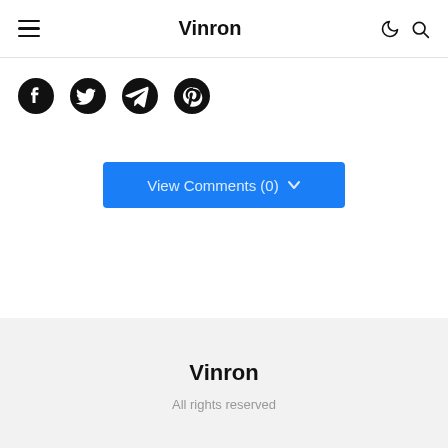Vinron
[Figure (other): Row of four social media share icons: Facebook, Twitter, Telegram, Pinterest]
View Comments (0)
Vinron
All rights reserved